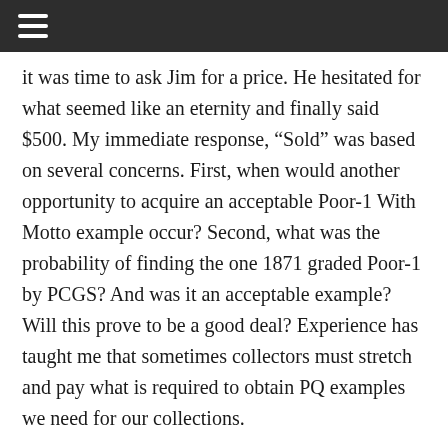it was time to ask Jim for a price. He hesitated for what seemed like an eternity and finally said $500. My immediate response, “Sold” was based on several concerns. First, when would another opportunity to acquire an acceptable Poor-1 With Motto example occur? Second, what was the probability of finding the one 1871 graded Poor-1 by PCGS? And was it an acceptable example? Will this prove to be a good deal? Experience has taught me that sometimes collectors must stretch and pay what is required to obtain PQ examples we need for our collections.